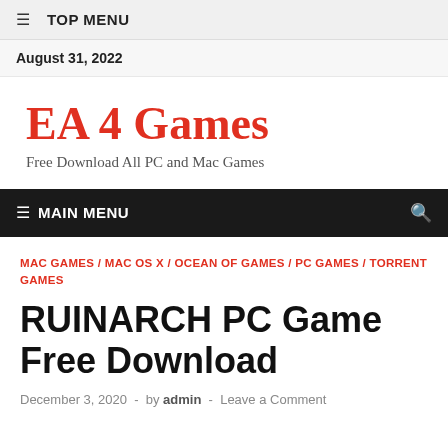☰  TOP MENU
August 31, 2022
EA 4 Games
Free Download All PC and Mac Games
☰  MAIN MENU
MAC GAMES / MAC OS X / OCEAN OF GAMES / PC GAMES / TORRENT GAMES
RUINARCH PC Game Free Download
December 3, 2020  -  by admin  -  Leave a Comment